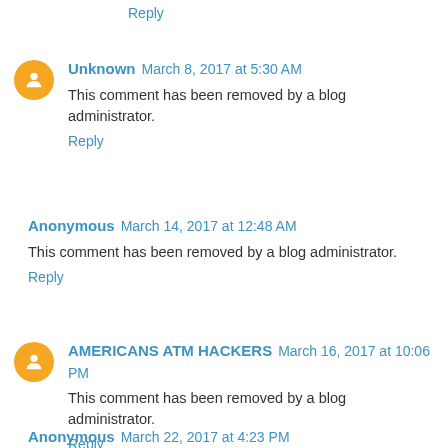Reply
Unknown  March 8, 2017 at 5:30 AM
This comment has been removed by a blog administrator.
Reply
Anonymous  March 14, 2017 at 12:48 AM
This comment has been removed by a blog administrator.
Reply
AMERICANS ATM HACKERS  March 16, 2017 at 10:06 PM
This comment has been removed by a blog administrator.
Reply
Anonymous  March 22, 2017 at 4:23 PM